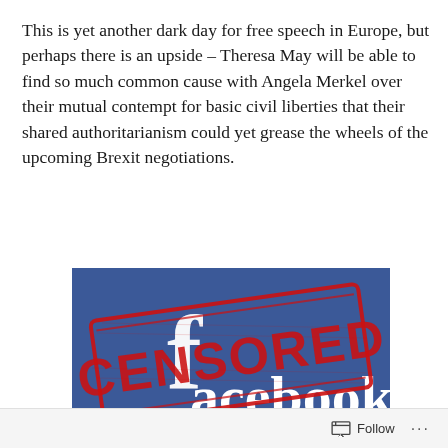This is yet another dark day for free speech in Europe, but perhaps there is an upside – Theresa May will be able to find so much common cause with Angela Merkel over their mutual contempt for basic civil liberties that their shared authoritarianism could yet grease the wheels of the upcoming Brexit negotiations.
[Figure (illustration): Facebook censored image: blue background with white Facebook logo text overlaid with a large red distressed stamp reading 'CENSORED']
Follow ···